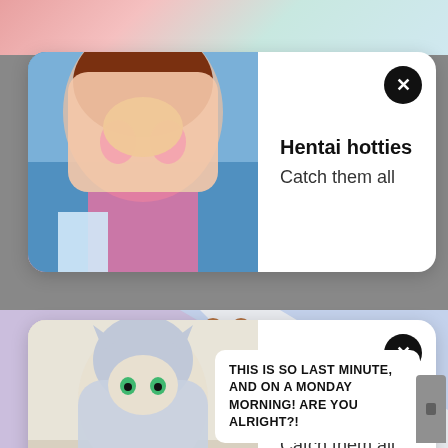[Figure (illustration): Manga/anime style illustration background at top]
[Figure (illustration): First notification card overlay with anime character image. Title: Hentai hotties, Subtitle: Catch them all]
Hentai hotties
Catch them all
[Figure (illustration): Second notification card overlay with anime character image. Title: Hentai hotties, Subtitle: Catch them all]
Hentai hotties
Catch them all
[Figure (illustration): Manga page background with bear pattern hoodie artwork and dark section at bottom]
THIS IS SO LAST MINUTE, AND ON A MONDAY MORNING! ARE YOU ALRIGHT?!